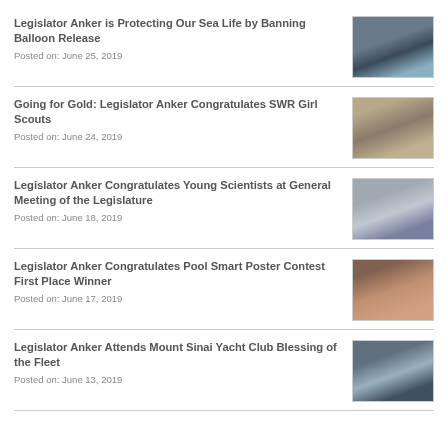Legislator Anker is Protecting Our Sea Life by Banning Balloon Release
Posted on: June 25, 2019
Going for Gold: Legislator Anker Congratulates SWR Girl Scouts
Posted on: June 24, 2019
Legislator Anker Congratulates Young Scientists at General Meeting of the Legislature
Posted on: June 18, 2019
Legislator Anker Congratulates Pool Smart Poster Contest First Place Winner
Posted on: June 17, 2019
Legislator Anker Attends Mount Sinai Yacht Club Blessing of the Fleet
Posted on: June 13, 2019